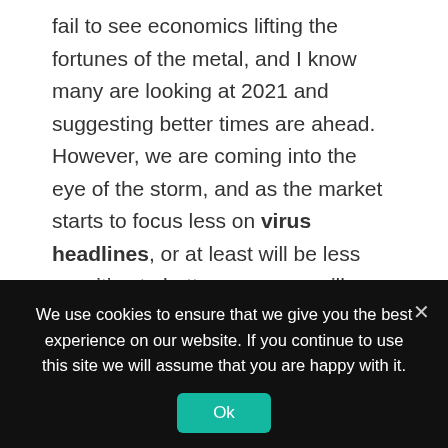fail to see economics lifting the fortunes of the metal, and I know many are looking at 2021 and suggesting better times are ahead. However, we are coming into the eye of the storm, and as the market starts to focus less on virus headlines, or at least will be less sensitive to better news, we will focus more on the lasting effects on the economy and solvency.
There is little doubt that last week saw an accelerant in the debate around the disconnect between the financial markets and the real economy. Awful Chinese Q1 GDP, US retail sales, NY manufacturing, and Aussie business and consumer confidence – to name a few – and this
We use cookies to ensure that we give you the best experience on our website. If you continue to use this site we will assume that you are happy with it.